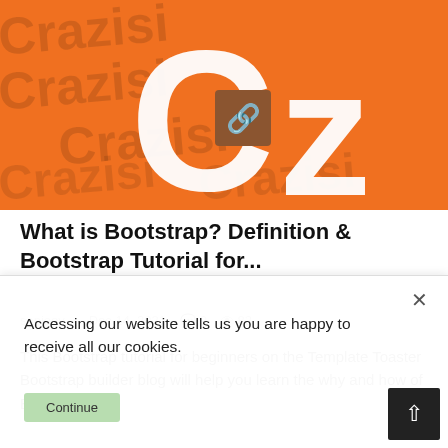[Figure (illustration): Orange branded hero image with white 'C' and 'z' letters and a chain/link icon overlay, with repeated 'Crazisi' text watermark in background]
What is Bootstrap? Definition & Bootstrap Tutorial for...
sanjeev...   Dec 14, 2021   🗨 0   👁 82
This Bootstrap tutorial for beginners on the Template Toaster Bootstrap builder blog will help you learn the why and how of Bootstrap.
Accessing our website tells us you are happy to receive all our cookies.